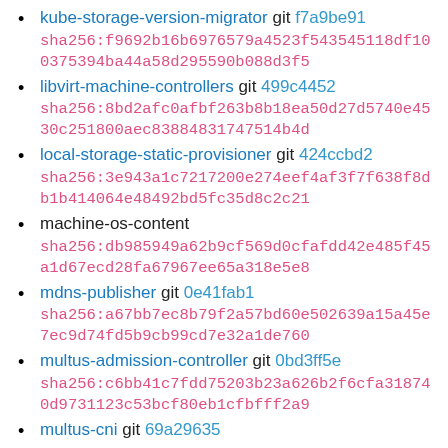kube-storage-version-migrator git f7a9be91
sha256:f9692b16b6976579a4523f543545118df100375394ba44a58d295590b088d3f5
libvirt-machine-controllers git 499c4452
sha256:8bd2afc0afbf263b8b18ea50d27d5740e4530c251800aec83884831747514b4d
local-storage-static-provisioner git 424ccbd2
sha256:3e943a1c7217200e274eef4af3f7f638f8db1b414064e48492bd5fc35d8c2c21
machine-os-content
sha256:db985949a62b9cf569d0cfafdd42e485f45a1d67ecd28fa67967ee65a318e5e8
mdns-publisher git 0e41fab1
sha256:a67bb7ec8b79f2a57bd60e502639a15a45e7ec9d74fd5b9cb99cd7e32a1de760
multus-admission-controller git 0bd3ff5e
sha256:c6bb41c7fdd75203b23a626b2f6cfa318740d9731123c53bcf80eb1cfbfff2a9
multus-cni git 69a29635